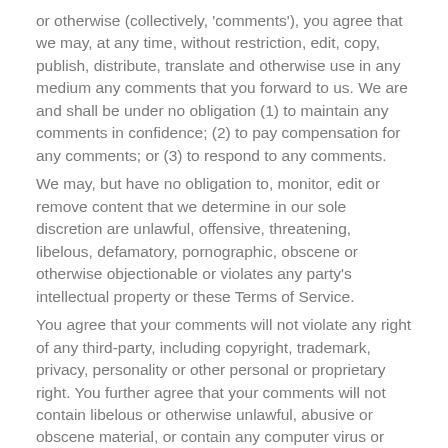or otherwise (collectively, 'comments'), you agree that we may, at any time, without restriction, edit, copy, publish, distribute, translate and otherwise use in any medium any comments that you forward to us. We are and shall be under no obligation (1) to maintain any comments in confidence; (2) to pay compensation for any comments; or (3) to respond to any comments.
We may, but have no obligation to, monitor, edit or remove content that we determine in our sole discretion are unlawful, offensive, threatening, libelous, defamatory, pornographic, obscene or otherwise objectionable or violates any party's intellectual property or these Terms of Service.
You agree that your comments will not violate any right of any third-party, including copyright, trademark, privacy, personality or other personal or proprietary right. You further agree that your comments will not contain libelous or otherwise unlawful, abusive or obscene material, or contain any computer virus or other malware that could in any way affect the operation of the Service or any related